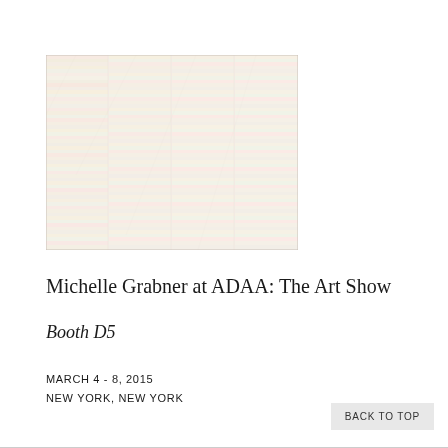[Figure (photo): Abstract artwork showing a grid-like pattern of soft pastel horizontal bands in pale yellow, pink, green, and white tones, suggesting a woven or layered textile composition.]
Michelle Grabner at ADAA: The Art Show
Booth D5
MARCH 4 - 8, 2015
NEW YORK, NEW YORK
BACK TO TOP